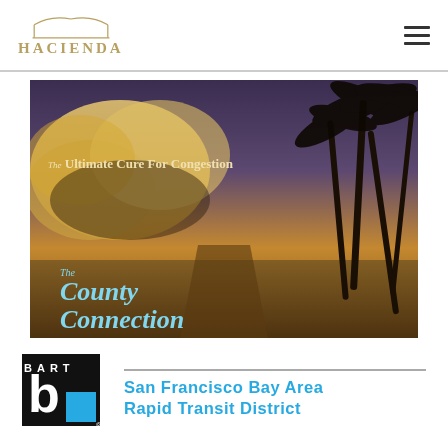HACIENDA
[Figure (photo): Tropical beach sunset scene with palm trees on the right and dramatic golden clouds on the left. Text overlay reads 'The Ultimate Cure For Congestion' at the top and 'The County Connection' in large script at the bottom left.]
[Figure (logo): BART logo — San Francisco Bay Area Rapid Transit District logo with black square containing stylized 'b' letterform and cyan/blue square, next to text 'San Francisco Bay Area Rapid Transit District' in blue.]
San Francisco Bay Area Rapid Transit District